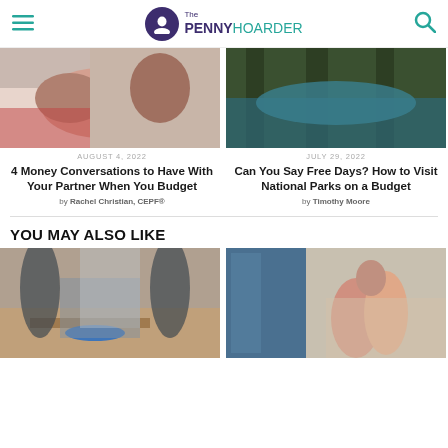The PENNY HOARDER
[Figure (photo): Couple lying down, forehead kiss intimate scene]
[Figure (photo): Person relaxing in a hammock in a forest]
AUGUST 4, 2022 — 4 Money Conversations to Have With Your Partner When You Budget — by Rachel Christian, CEPF®
JULY 29, 2022 — Can You Say Free Days? How to Visit National Parks on a Budget — by Timothy Moore
YOU MAY ALSO LIKE
[Figure (photo): Person vacuuming a living room floor]
[Figure (photo): Two teenage girls walking and smiling in a school hallway with lockers]